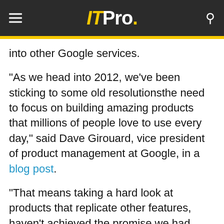ITPro.
into other Google services.
"As we head into 2012, we've been sticking to some old resolutionsthe need to focus on building amazing products that millions of people love to use every day," said Dave Girouard, vice president of product management at Google, in a blog post.
"That means taking a hard look at products that replicate other features, haven't achieved the promise we had hoped for or can't be properly integrated into the overall Google experience."
Picnik, the online photo editor acquired in 2010, has